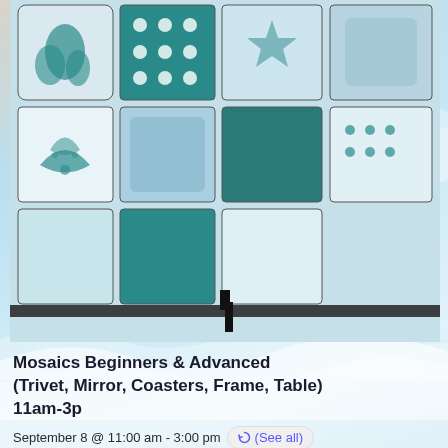[Figure (photo): Close-up photo of teal and white mosaic tiles with various patterns including floral, polka dots, and solid blue-green squares, arranged in a grid with black dividers]
Mosaics Beginners & Advanced (Trivet, Mirror, Coasters, Frame, Table) 11am-3p
September 8 @ 11:00 am - 3:00 pm  (See all)
[Figure (photo): Close-up photo of teal and white mosaic tiles with various patterns including floral, polka dots, star patterns, and solid teal squares arranged in a grid]